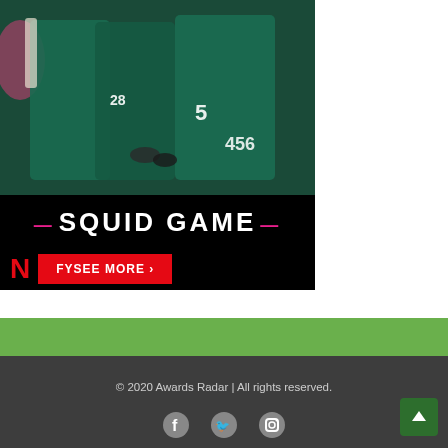[Figure (photo): Squid Game Netflix advertisement banner showing characters in teal tracksuits with numbers 228, 456, and 5. 'SQUID GAME' logo in white text with pink dashes. Netflix N logo and red 'FYSEE MORE >' button on black background.]
© 2020 Awards Radar | All rights reserved.